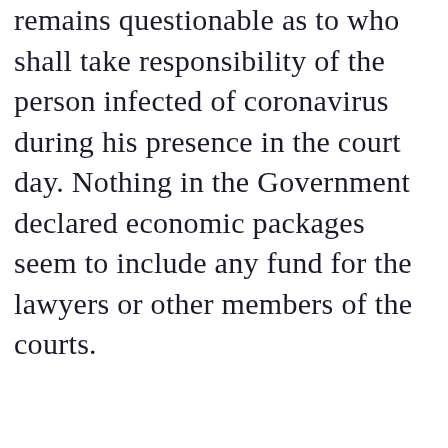remains questionable as to who shall take responsibility of the person infected of coronavirus during his presence in the court day. Nothing in the Government declared economic packages seem to include any fund for the lawyers or other members of the courts.